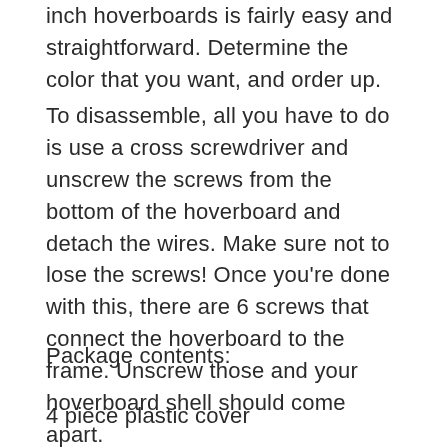inch hoverboards is fairly easy and straightforward. Determine the color that you want, and order up.
To disassemble, all you have to do is use a cross screwdriver and unscrew the screws from the bottom of the hoverboard and detach the wires. Make sure not to lose the screws! Once you're done with this, there are 6 screws that connect the hoverboard to the frame. Unscrew those and your hoverboard shell should come apart.
Package contents:
4 piece plastic cover